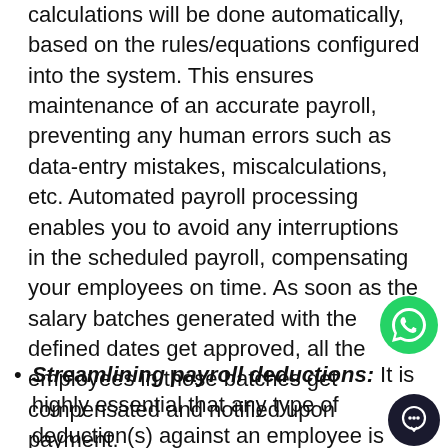calculations will be done automatically, based on the rules/equations configured into the system. This ensures maintenance of an accurate payroll, preventing any human errors such as data-entry mistakes, miscalculations, etc. Automated payroll processing enables you to avoid any interruptions in the scheduled payroll, compensating your employees on time. As soon as the salary batches generated with the defined dates get approved, all the employees in those batches get compensated and notified upon payment.
Streamlining payroll deductions: It is highly essential that any type of deduction(s) against an employee is reflected in the payroll accordingly. HR
[Figure (illustration): Green WhatsApp chat button icon (circular green background with white phone handset)]
[Figure (illustration): Dark navy/black circular chat button icon with white chat bubble]